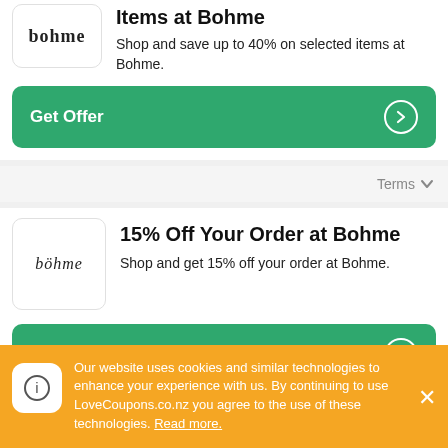[Figure (logo): Bohme brand logo, serif text]
Shop and save up to 40% on selected items at Bohme.
Get Offer
Terms
15% Off Your Order at Bohme
[Figure (logo): Bohme brand logo, italic serif text]
Shop and get 15% off your order at Bohme.
Get Offer
Our website uses cookies and similar technologies to enhance your experience with us. By continuing to use LoveCoupons.co.nz you agree to the use of these technologies. Read more.